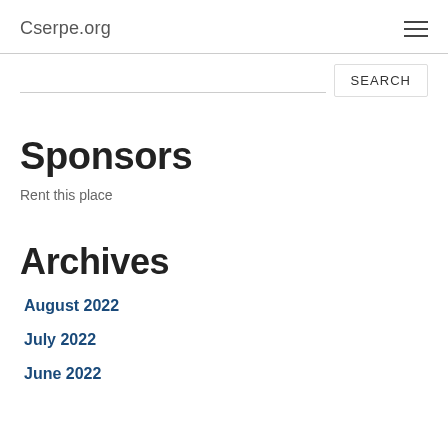Cserpe.org
Sponsors
Rent this place
Archives
August 2022
July 2022
June 2022